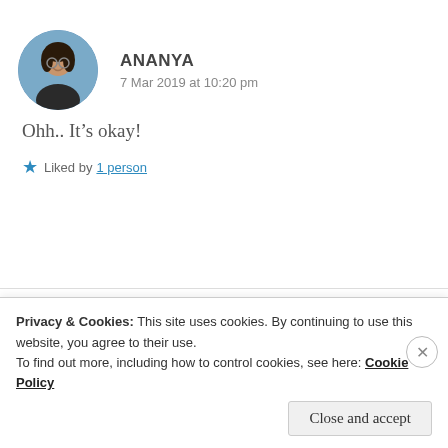ANANYA
7 Mar 2019 at 10:20 pm
Ohh.. It's okay!
★ Liked by 1 person
ZEALOUS HOMO SAPIENS
Privacy & Cookies: This site uses cookies. By continuing to use this website, you agree to their use.
To find out more, including how to control cookies, see here: Cookie Policy
Close and accept